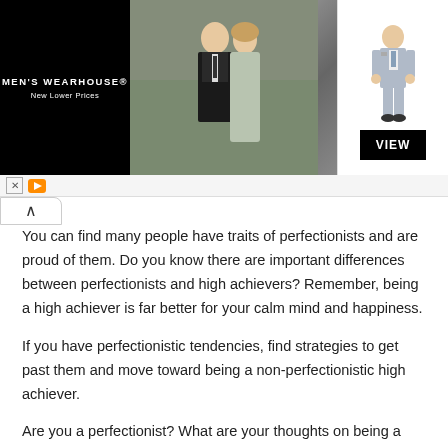[Figure (photo): Men's Wearhouse advertisement banner showing a couple in formal wedding attire and a boy in a suit, with a VIEW button]
You can find many people have traits of perfectionists and are proud of them. Do you know there are important differences between perfectionists and high achievers? Remember, being a high achiever is far better for your calm mind and happiness.
If you have perfectionistic tendencies, find strategies to get past them and move toward being a non-perfectionistic high achiever.
Are you a perfectionist? What are your thoughts on being a perfectionist?
Share your views in the comment box below.